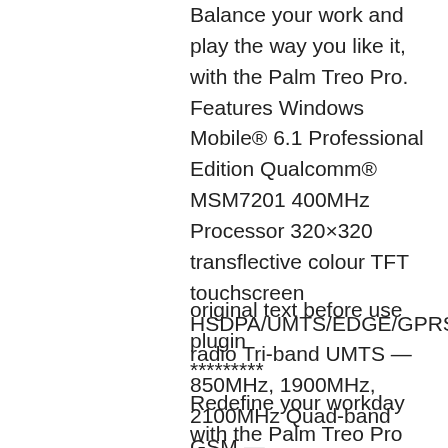Balance your work and play the way you like it, with the Palm Treo Pro. Features Windows Mobile® 6.1 Professional Edition Qualcomm® MSM7201 400MHz Processor 320×320 transflective colour TFT touchscreen HSDPA/UMTS/EDGE/GPRS/GSM radio Tri-band UMTS — 850MHz, 1900MHz, 2100MHz Quad-band GSM — 850/900/1800/1900 802.11b/g with WPA, WPA2, and 801.1x authentication Built-in GPS Bluetooth Version: 2.0 + Enhanced Data Rate 256MB storage … ****
original text before use plugin
*********
Redefine your workday with the Palm Treo Pro smartphone. Perfectly balanced, you can